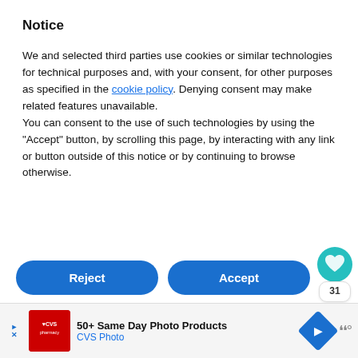Notice
We and selected third parties use cookies or similar technologies for technical purposes and, with your consent, for other purposes as specified in the cookie policy. Denying consent may make related features unavailable.
You can consent to the use of such technologies by using the “Accept” button, by scrolling this page, by interacting with any link or button outside of this notice or by continuing to browse otherwise.
[Figure (screenshot): Reject and Accept buttons (blue pill-shaped), Learn more and customize button (gray pill-shaped), heart circle icon with count 31, share icon]
[Figure (screenshot): CVS Pharmacy advertisement banner: 50+ Same Day Photo Products, CVS Photo, blue diamond icon, wave icon]